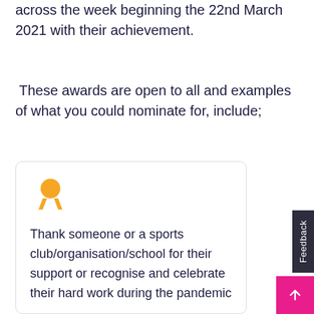across the week beginning the 22nd March 2021 with their achievement.
These awards are open to all and examples of what you could nominate for, include;
[Figure (illustration): Gold/yellow medal ribbon award icon]
Thank someone or a sports club/organisation/school for their support or recognise and celebrate their hard work during the pandemic